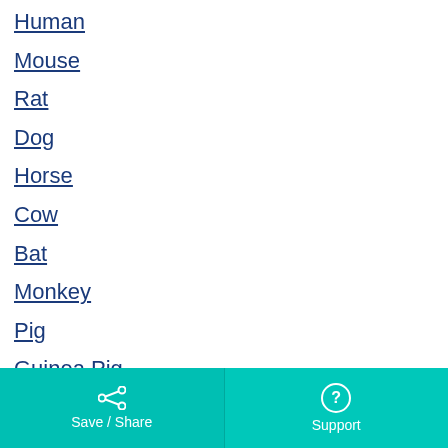Human
Mouse
Rat
Dog
Horse
Cow
Bat
Monkey
Pig
Guinea Pig
Saccharomyces cerevisiae
Save / Share | Support